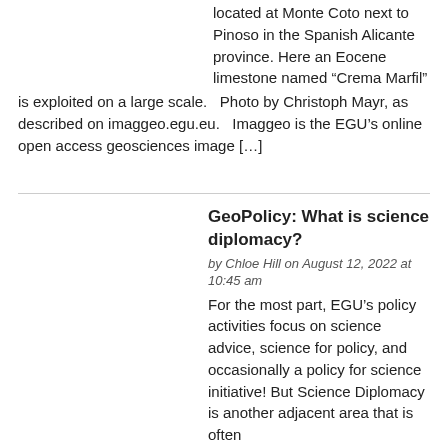located at Monte Coto next to Pinoso in the Spanish Alicante province. Here an Eocene limestone named “Crema Marfil” is exploited on a large scale.   Photo by Christoph Mayr, as described on imaggeo.egu.eu.   Imaggeo is the EGU’s online open access geosciences image […]
GeoPolicy: What is science diplomacy?
by Chloe Hill on August 12, 2022 at 10:45 am
For the most part, EGU’s policy activities focus on science advice, science for policy, and occasionally a policy for science initiative! But Science Diplomacy is another adjacent area that is often asked about. This month’s GeoPolicy Blog post will give an overview of Science Diplomacy, its different strands, and how scientists can […]